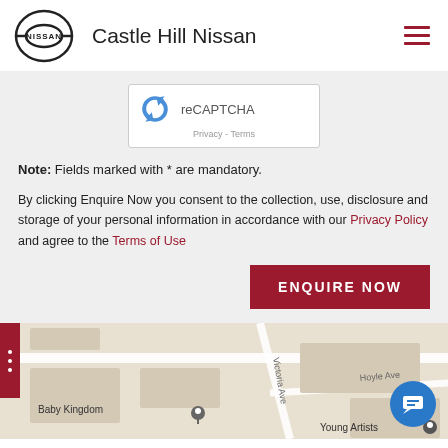Castle Hill Nissan
[Figure (screenshot): reCAPTCHA widget with recycling arrow icon, text 'reCAPTCHA', and 'Privacy - Terms' links below]
Note: Fields marked with * are mandatory.
By clicking Enquire Now you consent to the collection, use, disclosure and storage of your personal information in accordance with our Privacy Policy and agree to the Terms of Use
[Figure (other): ENQUIRE NOW button in dark red/maroon color]
[Figure (map): Google Maps screenshot showing Baby Kingdom, Hoyle Ave, Young Artists locations in Castle Hill area]